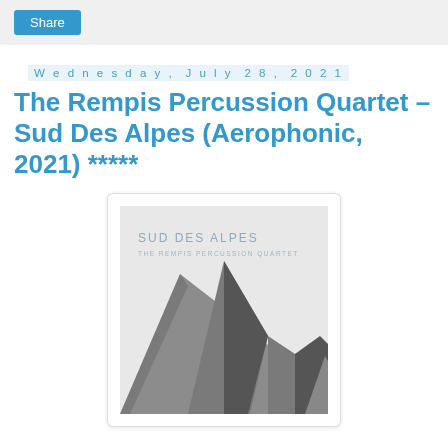Share
Wednesday, July 28, 2021
The Rempis Percussion Quartet – Sud Des Alpes (Aerophonic, 2021) *****
[Figure (illustration): Album cover for Sud Des Alpes by The Rempis Percussion Quartet. Light grey background with 'SUD DES ALPES' and 'THE REMPIS PERCUSSION QUARTET' text in the upper left. A minimalist illustration of dark grey mountain peaks fills the lower two-thirds of the cover.]